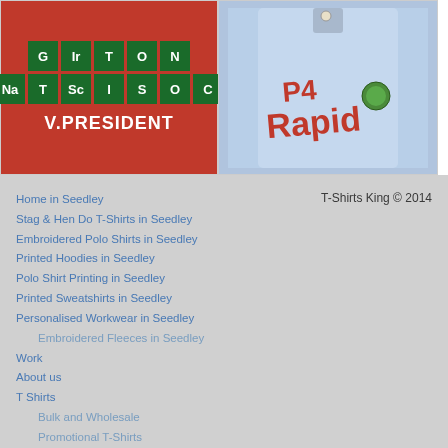[Figure (photo): Red t-shirt with periodic table style tiles spelling out 'Girton NatSci Soc' and text 'V.PRESIDENT' below]
[Figure (photo): Light blue polo shirt with red embroidered 'P4 Rapid' logo and a small badge]
Home in Seedley
Stag & Hen Do T-Shirts in Seedley
Embroidered Polo Shirts in Seedley
Printed Hoodies in Seedley
Polo Shirt Printing in Seedley
Printed Sweatshirts in Seedley
Personalised Workwear in Seedley
Embroidered Fleeces in Seedley
Work
About us
T Shirts
Bulk and Wholesale
Promotional T-Shirts
T-Shirts King © 2014